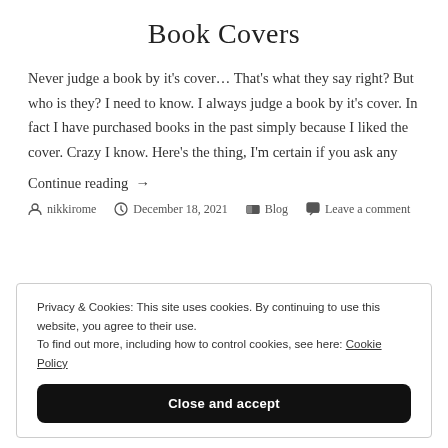Book Covers
Never judge a book by it's cover… That's what they say right? But who is they? I need to know. I always judge a book by it's cover. In fact I have purchased books in the past simply because I liked the cover. Crazy I know. Here's the thing, I'm certain if you ask any
Continue reading →
nikkirome  December 18, 2021  Blog  Leave a comment
Privacy & Cookies: This site uses cookies. By continuing to use this website, you agree to their use.
To find out more, including how to control cookies, see here: Cookie Policy
Close and accept